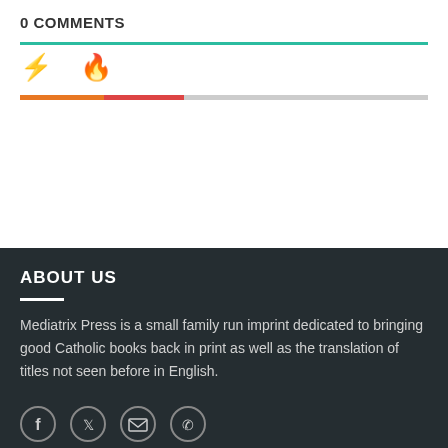0 COMMENTS
[Figure (infographic): Two tab icons: a yellow lightning bolt and an orange flame, with a segmented progress/indicator bar below showing orange, red-orange, and grey sections]
ABOUT US
Mediatrix Press is a small family run imprint dedicated to bringing good Catholic books back in print as well as the translation of titles not seen before in English.
[Figure (infographic): Row of four circular social media icons: Facebook (f), Twitter (bird), Email (envelope), Phone (handset)]